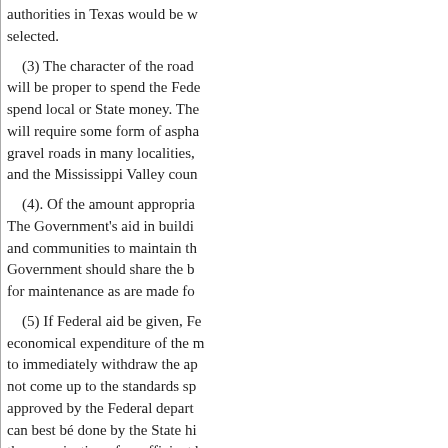authorities in Texas would be w... selected.
(3) The character of the road will be proper to spend the Fede... spend local or State money. The will require some form of aspha... gravel roads in many localities, and the Mississippi Valley coun...
(4). Of the amount appropria... The Government's aid in buildi... and communities to maintain th... Government should share the b... for maintenance as are made fo...
(5) If Federal aid be given, Fe... economical expenditure of the m... to immediately withdraw the ap... not come up to the standards sp... approved by the Federal depart... can best bé done by the State hi... the organization of an efficient h...
(6) In addition to details alrea... aid until it has organized a com...